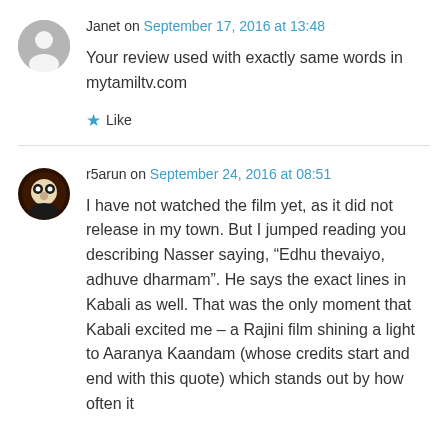Janet on September 17, 2016 at 13:48
Your review used with exactly same words in mytamiltv.com
Like
r5arun on September 24, 2016 at 08:51
I have not watched the film yet, as it did not release in my town. But I jumped reading you describing Nasser saying, “Edhu thevaiyo, adhuve dharmam”. He says the exact lines in Kabali as well. That was the only moment that Kabali excited me – a Rajini film shining a light to Aaranya Kaandam (whose credits start and end with this quote) which stands out by how often it